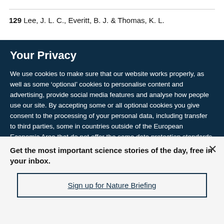129  Lee, J. L. C., Everitt, B. J. & Thomas, K. L.
Your Privacy
We use cookies to make sure that our website works properly, as well as some ‘optional’ cookies to personalise content and advertising, provide social media features and analyse how people use our site. By accepting some or all optional cookies you give consent to the processing of your personal data, including transfer to third parties, some in countries outside of the European Economic Area that do not offer the same data protection standards as the country where you live. You can decide which optional cookies to accept by clicking on ‘Manage Settings’, where you can
Get the most important science stories of the day, free in your inbox.
Sign up for Nature Briefing